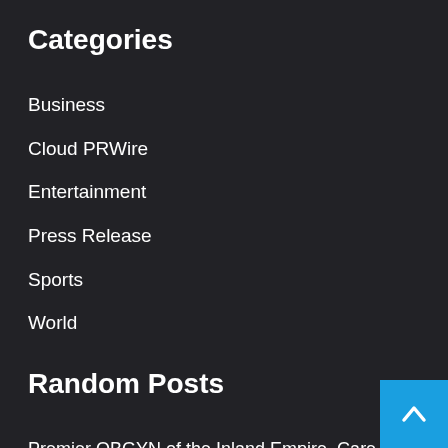Categories
Business
Cloud PRWire
Entertainment
Press Release
Sports
World
Random Posts
Premier OBGYN of the Inland Empire, Care for Womens Medical Group, Opens New Rancho Cucamonga ObGyn Office
WyattWorks Plumbing Charlotte Offers Premium Same Day Services at Affordable Rates